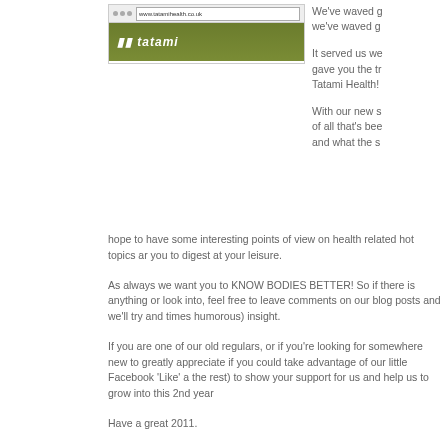[Figure (screenshot): Screenshot of the Tatami Health website showing the browser chrome and the olive/green header with the Tatami logo]
We've waved g we've waved g
It served us we gave you the tr Tatami Health!
With our new s of all that's bee and what the s hope to have some interesting points of view on health related hot topics ar you to digest at your leisure.
As always we want you to KNOW BODIES BETTER! So if there is anything or look into, feel free to leave comments on our blog posts and we'll try and times humorous) insight.
If you are one of our old regulars, or if you're looking for somewhere new to greatly appreciate if you could take advantage of our little Facebook 'Like' a the rest) to show your support for us and help us to grow into this 2nd year
Have a great 2011.
The Tatami Health Team.